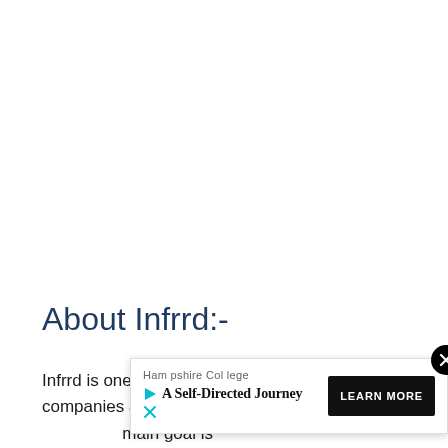About Infrrd:-
Infrrd is one of the leading AI technology companies and we have b… main goal is … ed by manual data entry and performance limitations of (O)ptical